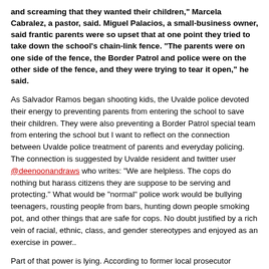and screaming that they wanted their children," Marcela Cabralez, a pastor, said. Miguel Palacios, a small-business owner, said frantic parents were so upset that at one point they tried to take down the school's chain-link fence. "The parents were on one side of the fence, the Border Patrol and police were on the other side of the fence, and they were trying to tear it open," he said.
As Salvador Ramos began shooting kids, the Uvalde police devoted their energy to preventing parents from entering the school to save their children. They were also preventing a Border Patrol special team from entering the school but I want to reflect on the connection between Uvalde police treatment of parents and everyday policing. The connection is suggested by Uvalde resident and twitter user @deenoonandraws who writes: “We are helpless. The cops do nothing but harass citizens they are suppose to be serving and protecting.” What would be “normal” police work would be bullying teenagers, rousting people from bars, hunting down people smoking pot, and other things that are safe for cops. No doubt justified by a rich vein of racial, ethnic, class, and gender stereotypes and enjoyed as an exercise in power..
Part of that power is lying. According to former local prosecutor @Miriam2626–“based on my past interactions with Uvalde PD, you will never know the truth about what went down in that school until every inch of video tape is released